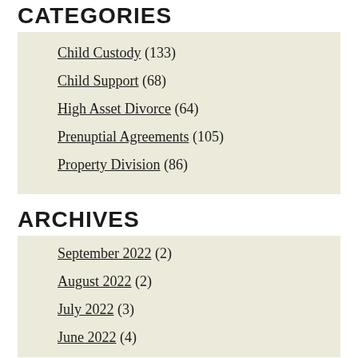CATEGORIES
Child Custody (133)
Child Support (68)
High Asset Divorce (64)
Prenuptial Agreements (105)
Property Division (86)
ARCHIVES
September 2022 (2)
August 2022 (2)
July 2022 (3)
June 2022 (4)